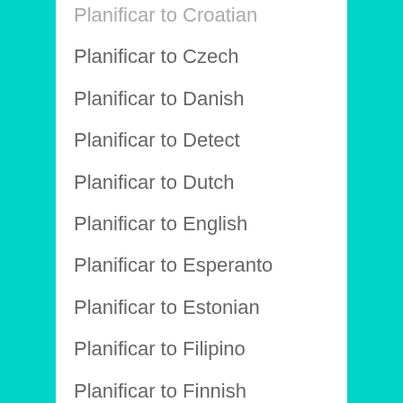Planificar to Croatian
Planificar to Czech
Planificar to Danish
Planificar to Detect
Planificar to Dutch
Planificar to English
Planificar to Esperanto
Planificar to Estonian
Planificar to Filipino
Planificar to Finnish
Planificar to French
Planificar to Frisian
Planificar to Galician
Planificar to Georgian